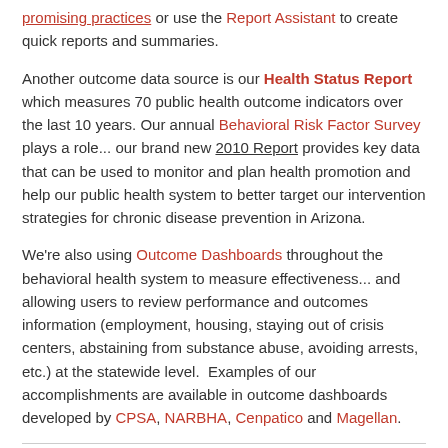promising practices or use the Report Assistant to create quick reports and summaries.
Another outcome data source is our Health Status Report which measures 70 public health outcome indicators over the last 10 years. Our annual Behavioral Risk Factor Survey plays a role... our brand new 2010 Report provides key data that can be used to monitor and plan health promotion and help our public health system to better target our intervention strategies for chronic disease prevention in Arizona.
We're also using Outcome Dashboards throughout the behavioral health system to measure effectiveness... and allowing users to review performance and outcomes information (employment, housing, staying out of crisis centers, abstaining from substance abuse, avoiding arrests, etc.) at the statewide level. Examples of our accomplishments are available in outcome dashboards developed by CPSA, NARBHA, Cenpatico and Magellan.
By azdhs-admin | November 18th, 2011 | Behavioral Health, Prevention | Comments Off